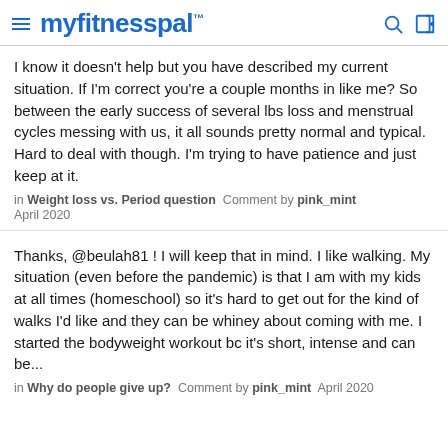myfitnesspal
I know it doesn't help but you have described my current situation. If I'm correct you're a couple months in like me? So between the early success of several lbs loss and menstrual cycles messing with us, it all sounds pretty normal and typical. Hard to deal with though. I'm trying to have patience and just keep at it.
in Weight loss vs. Period question  Comment by pink_mint
April 2020
Thanks, @beulah81 ! I will keep that in mind. I like walking. My situation (even before the pandemic) is that I am with my kids at all times (homeschool) so it's hard to get out for the kind of walks I'd like and they can be whiney about coming with me. I started the bodyweight workout bc it's short, intense and can be...
in Why do people give up?  Comment by pink_mint  April 2020